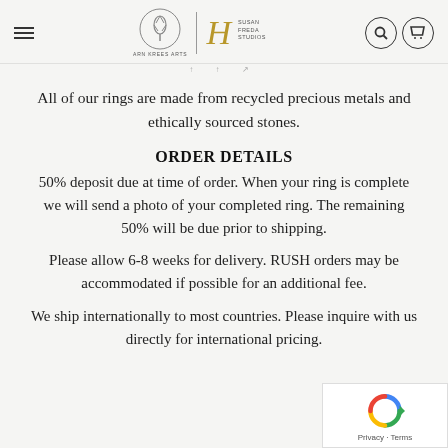ARN KREES ARTS | SUSAN FRESA STUDIOS
All of our rings are made from recycled precious metals and ethically sourced stones.
ORDER DETAILS
50% deposit due at time of order. When your ring is complete we will send a photo of your completed ring. The remaining 50% will be due prior to shipping.
Please allow 6-8 weeks for delivery. RUSH orders may be accommodated if possible for an additional fee.
We ship internationally to most countries. Please inquire with us directly for international pricing.